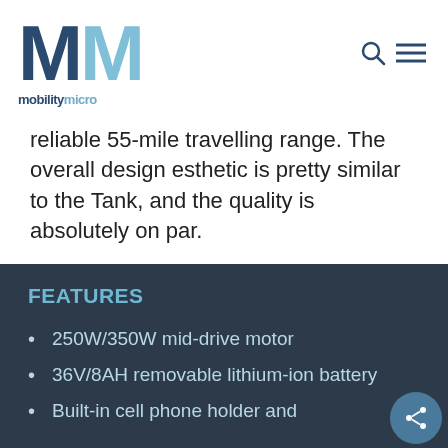[Figure (logo): MobilityMicro logo with two M letters in dark blue and light blue, and text 'mobilitymicro' below]
reliable 55-mile travelling range. The overall design esthetic is pretty similar to the Tank, and the quality is absolutely on par.
FEATURES
250W/350W mid-drive motor
36V/8AH removable lithium-ion battery
Built-in cell phone holder and